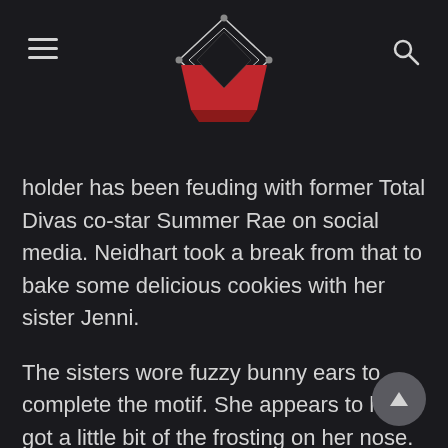[Navigation header with hamburger menu, wrestling ring logo, and search icon]
holder has been feuding with former Total Divas co-star Summer Rae on social media. Neidhart took a break from that to bake some delicious cookies with her sister Jenni.
The sisters wore fuzzy bunny ears to complete the motif. She appears to have got a little bit of the frosting on her nose. Nattie shared a playful and loving message with her sister in the caption.